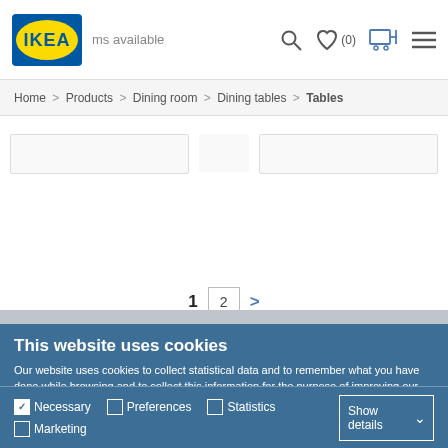IKEA — Home > Products > Dining room > Dining tables > Tables
Home > Products > Dining room > Dining tables > Tables
[Figure (screenshot): Pagination navigation showing page 1 (bold), page 2 (in a box), and a right arrow]
This website uses cookies
Our website uses cookies to collect statistical data and to remember what you have done while browsing and to collect this information for the purpose of improving our performance and personalized advertising. You may accept the use of all or only certain cookies. Please see the Cookie Policy for more information.
OK
Necessary  Preferences  Statistics  Show details  Marketing